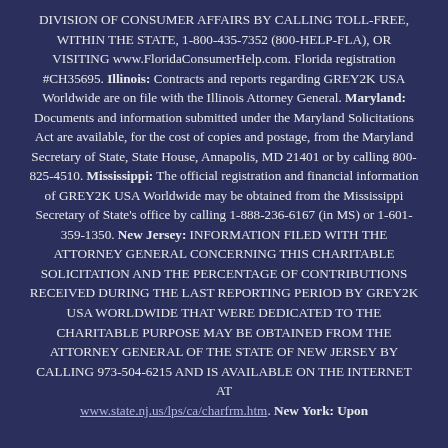DIVISION OF CONSUMER AFFAIRS BY CALLING TOLL-FREE, WITHIN THE STATE, 1-800-435-7352 (800-HELP-FLA), OR VISITING www.FloridaConsumerHelp.com. Florida registration #CH35695. Illinois: Contracts and reports regarding GREY2K USA Worldwide are on file with the Illinois Attorney General. Maryland: Documents and information submitted under the Maryland Solicitations Act are available, for the cost of copies and postage, from the Maryland Secretary of State, State House, Annapolis, MD 21401 or by calling 800-825-4510. Mississippi: The official registration and financial information of GREY2K USA Worldwide may be obtained from the Mississippi Secretary of State's office by calling 1-888-236-6167 (in MS) or 1-601-359-1350. New Jersey: INFORMATION FILED WITH THE ATTORNEY GENERAL CONCERNING THIS CHARITABLE SOLICITATION AND THE PERCENTAGE OF CONTRIBUTIONS RECEIVED DURING THE LAST REPORTING PERIOD BY GREY2K USA WORLDWIDE THAT WERE DEDICATED TO THE CHARITABLE PURPOSE MAY BE OBTAINED FROM THE ATTORNEY GENERAL OF THE STATE OF NEW JERSEY BY CALLING 973-504-6215 AND IS AVAILABLE ON THE INTERNET AT www.state.nj.us/lps/ca/charfrm.htm. New York: Upon